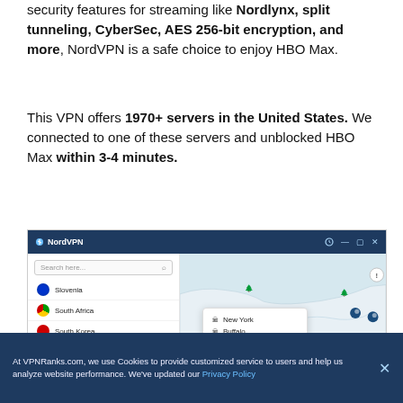security features for streaming like Nordlynx, split tunneling, CyberSec, AES 256-bit encryption, and more, NordVPN is a safe choice to enjoy HBO Max.
This VPN offers 1970+ servers in the United States. We connected to one of these servers and unblocked HBO Max within 3-4 minutes.
[Figure (screenshot): NordVPN desktop application screenshot showing a sidebar with countries (Slovenia, South Africa, South Korea, Spain, Sweden, Switzerland, Taiwan) and a map view with US city options popup (New York, Buffalo, Chicago, Salt Lake City), map pins, and map of northeastern US region.]
At VPNRanks.com, we use Cookies to provide customized service to users and help us analyze website performance. We've updated our Privacy Policy